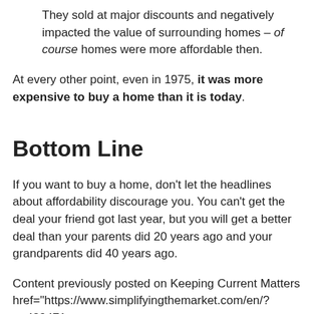They sold at major discounts and negatively impacted the value of surrounding homes – of course homes were more affordable then.
At every other point, even in 1975, it was more expensive to buy a home than it is today.
Bottom Line
If you want to buy a home, don't let the headlines about affordability discourage you. You can't get the deal your friend got last year, but you will get a better deal than your parents did 20 years ago and your grandparents did 40 years ago.
Content previously posted on Keeping Current Matters href="https://www.simplifyingthemarket.com/en/?a=429471-